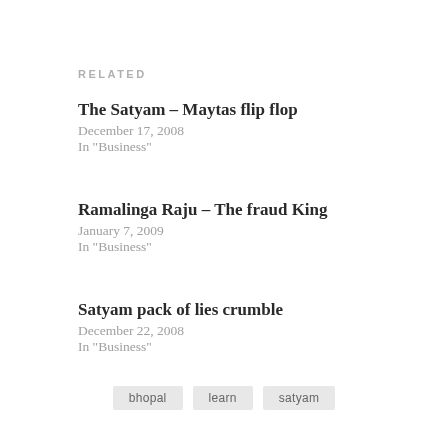RELATED
The Satyam – Maytas flip flop
December 17, 2008
In "Business"
Ramalinga Raju – The fraud King
January 7, 2009
In "Business"
Satyam pack of lies crumble
December 22, 2008
In "Business"
bhopal
learn
satyam